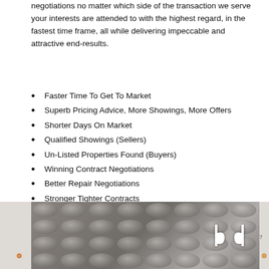negotiations no matter which side of the transaction we serve your interests are attended to with the highest regard, in the fastest time frame, all while delivering impeccable and attractive end-results.
Faster Time To Get To Market
Superb Pricing Advice, More Showings, More Offers
Shorter Days On Market
Qualified Showings (Sellers)
Un-Listed Properties Found (Buyers)
Winning Contract Negotiations
Better Repair Negotiations
Stronger Tighter Contracts
Expedient, Detailed Closing Processes
Higher List To Sold Price (Sellers)
Fair Market Values (Buyers)
Smooth Financing Procedures And Partners
Compass Advanced Technology
[Figure (photo): Tufted upholstered headboard in grey/taupe fabric with a decorative logo overlay (bd initials) on a light wooden paneled background, with decorative Edison bulbs on the sides.]